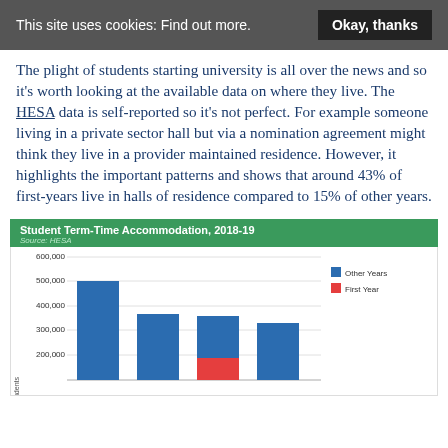This site uses cookies: Find out more.   Okay, thanks
The plight of students starting university is all over the news and so it's worth looking at the available data on where they live. The HESA data is self-reported so it's not perfect. For example someone living in a private sector hall but via a nomination agreement might think they live in a provider maintained residence. However, it highlights the important patterns and shows that around 43% of first-years live in halls of residence compared to 15% of other years.
[Figure (grouped-bar-chart): Student Term-Time Accommodation, 2018-19]
Student Term-Time Accommodation, 2018-19. Source: HESA